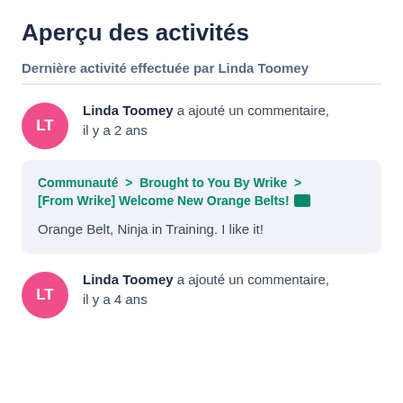Aperçu des activités
Dernière activité effectuée par Linda Toomey
Linda Toomey a ajouté un commentaire, il y a 2 ans
Communauté > Brought to You By Wrike > [From Wrike] Welcome New Orange Belts! 🔲

Orange Belt, Ninja in Training. I like it!
Linda Toomey a ajouté un commentaire, il y a 4 ans